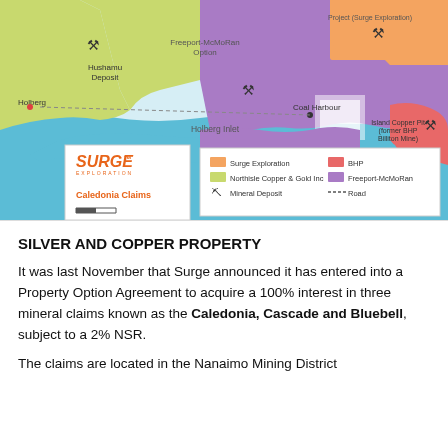[Figure (map): Map showing Caledonia Claims area near Holberg Inlet on Vancouver Island, BC. Features color-coded claim areas for Surge Exploration (orange), Northisle Copper & Gold Inc (yellow-green), Freeport-McMoRan (purple), and BHP (red/pink). Shows mineral deposits marked with pickaxe icons, Coal Harbour, Holberg Inlet, Island Copper Pit (former BHP Billiton Mine), Hushamu Deposit. Includes Surge Exploration logo and Caledonia Claims label with legend.]
SILVER AND COPPER PROPERTY
It was last November that Surge announced it has entered into a Property Option Agreement to acquire a 100% interest in three mineral claims known as the Caledonia, Cascade and Bluebell, subject to a 2% NSR.
The claims are located in the Nanaimo Mining District of northern Vancouver Island, directly east of the